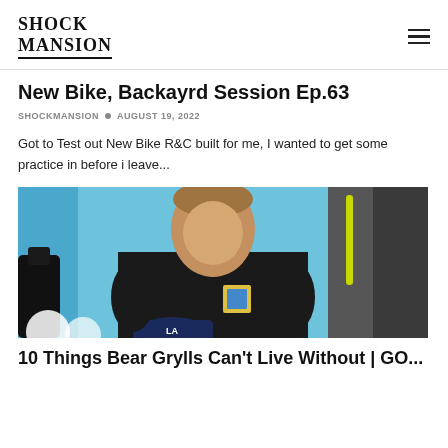SHOCK MANSION
New Bike, Backayrd Session Ep.63
SHOCKMANSION  •  AUGUST 19, 2022
Got to Test out New Bike R&C built for me, I wanted to get some practice in before i leave...
[Figure (photo): Photo of a man in a black t-shirt against a blue background, holding a small object, with a black bottle on the left and a grey/black jacket with yellow accents on the right. Baseball cap and other items visible at bottom.]
10 Things Bear Grylls Can't Live Without | GO...